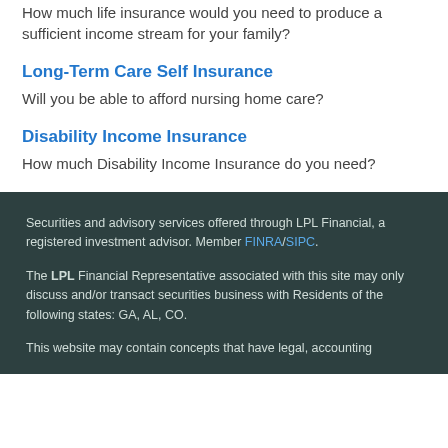How much life insurance would you need to produce a sufficient income stream for your family?
Long-Term Care Self Insurance
Will you be able to afford nursing home care?
Disability Income Insurance
How much Disability Income Insurance do you need?
Securities and advisory services offered through LPL Financial, a registered investment advisor. Member FINRA/SIPC. The LPL Financial Representative associated with this site may only discuss and/or transact securities business with Residents of the following states: GA, AL, CO. This website may contain concepts that have legal, accounting